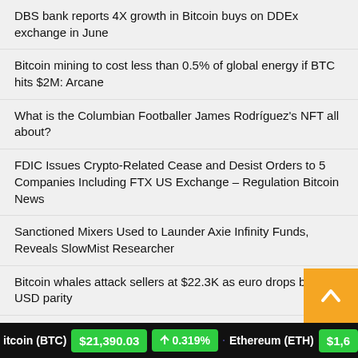DBS bank reports 4X growth in Bitcoin buys on DDEx exchange in June
Bitcoin mining to cost less than 0.5% of global energy if BTC hits $2M: Arcane
What is the Columbian Footballer James Rodríguez's NFT all about?
FDIC Issues Crypto-Related Cease and Desist Orders to 5 Companies Including FTX US Exchange – Regulation Bitcoin News
Sanctioned Mixers Used to Launder Axie Infinity Funds, Reveals SlowMist Researcher
Bitcoin whales attack sellers at $22.3K as euro drops below USD parity
Cryptocurrencies react to Jackson Hole, Fed rate hike plans and a weakening bear market rally
itcoin (BTC) $21,390.03 ↑ 0.319% Ethereum (ETH) $1,6...